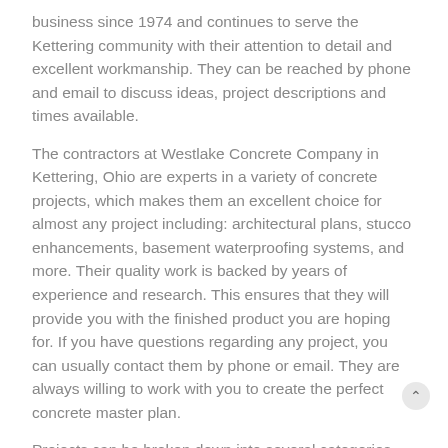business since 1974 and continues to serve the Kettering community with their attention to detail and excellent workmanship. They can be reached by phone and email to discuss ideas, project descriptions and times available.
The contractors at Westlake Concrete Company in Kettering, Ohio are experts in a variety of concrete projects, which makes them an excellent choice for almost any project including: architectural plans, stucco enhancements, basement waterproofing systems, and more. Their quality work is backed by years of experience and research. This ensures that they will provide you with the finished product you are hoping for. If you have questions regarding any project, you can usually contact them by phone or email. They are always willing to work with you to create the perfect concrete master plan.
Projects can be broken down into several categories. These include edifices, overlay buildings, fence structures, bridges, garages, precast buildings, slabs, retaining walls, columns, retaining floor systems, slab extensions, poured concrete, stamped concrete, piers, retaining walls, and more. There are